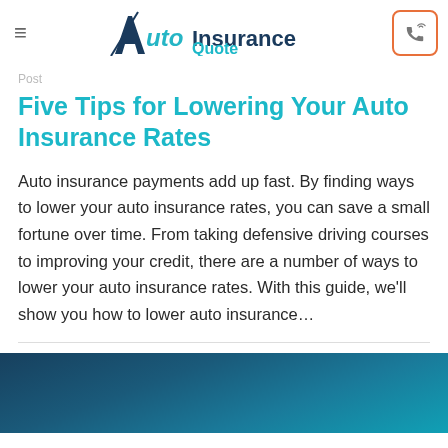AutoInsuranceQuote
Post
Five Tips for Lowering Your Auto Insurance Rates
Auto insurance payments add up fast. By finding ways to lower your auto insurance rates, you can save a small fortune over time. From taking defensive driving courses to improving your credit, there are a number of ways to lower your auto insurance rates. With this guide, we'll show you how to lower auto insurance…
[Figure (photo): Dark teal/blue gradient background image, partial view at bottom of page]